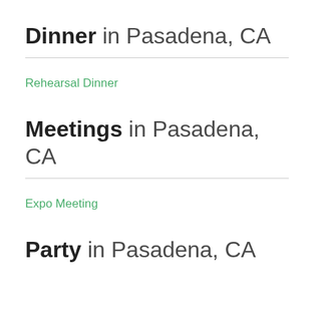Dinner in Pasadena, CA
Rehearsal Dinner
Meetings in Pasadena, CA
Expo
Meeting
Party in Pasadena, CA